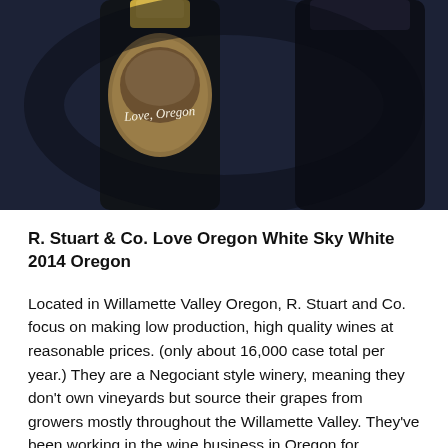[Figure (photo): Close-up photo of wine bottles with a label reading 'Love, Oregon' on a dark navy/slate background]
R. Stuart & Co. Love Oregon White Sky White 2014 Oregon
Located in Willamette Valley Oregon, R. Stuart and Co. focus on making low production, high quality wines at reasonable prices. (only about 16,000 case total per year.) They are a Negociant style winery, meaning they don't own vineyards but source their grapes from growers mostly throughout the Willamette Valley. They've been working in the wine business in Oregon for decades, and they know where the good fruit is!
We had this last night with Asian-ish chicken with black